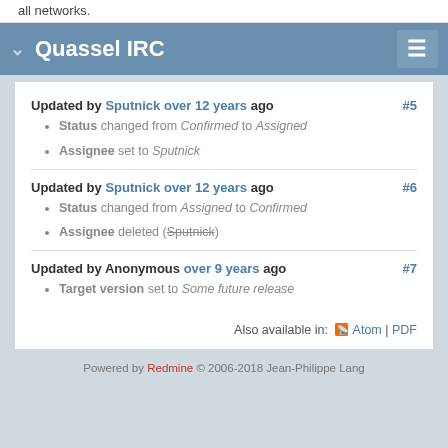all networks.
Quassel IRC
Updated by Sputnick over 12 years ago #5
Status changed from Confirmed to Assigned
Assignee set to Sputnick
Updated by Sputnick over 12 years ago #6
Status changed from Assigned to Confirmed
Assignee deleted (Sputnick)
Updated by Anonymous over 9 years ago #7
Target version set to Some future release
Also available in: Atom | PDF
Powered by Redmine © 2006-2018 Jean-Philippe Lang